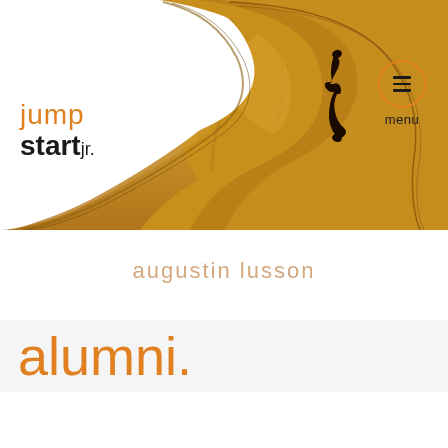[Figure (photo): Close-up photo of the body and f-hole of a wooden violin/cello, warm golden-brown wood grain visible, occupying the top portion of the page]
jump start jr.
[Figure (other): Orange circle menu button with three horizontal dark lines (hamburger icon) and 'menu' text below]
augustin lusson
alumni.